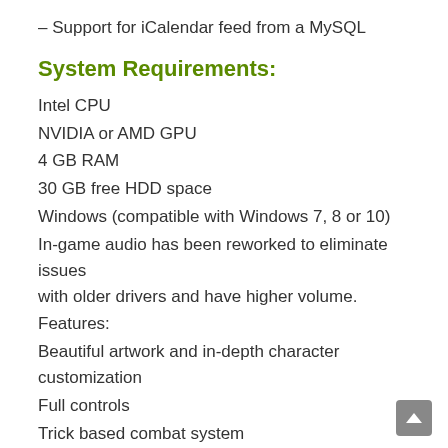– Support for iCalendar feed from a MySQL
System Requirements:
Intel CPU
NVIDIA or AMD GPU
4 GB RAM
30 GB free HDD space
Windows (compatible with Windows 7, 8 or 10)
In-game audio has been reworked to eliminate issues with older drivers and have higher volume.
Features:
Beautiful artwork and in-depth character customization
Full controls
Trick based combat system
Upgradeable attributes and unlockables
Choose from a variety of heroes and classes...